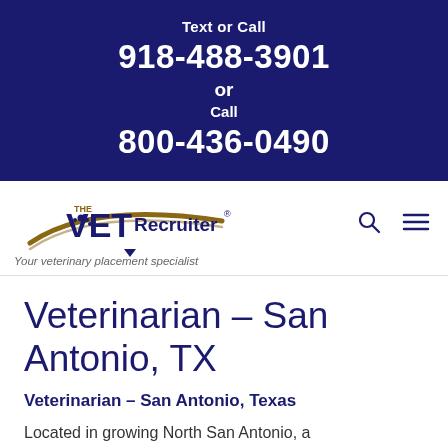Text or Call
918-488-3901
or
Call
800-436-0490
[Figure (logo): The Vet Recruiter logo with swoosh and paw print, tagline: Your veterinary placement specialist]
Veterinarian – San Antonio, TX
Veterinarian – San Antonio, Texas
Located in growing North San Antonio, a